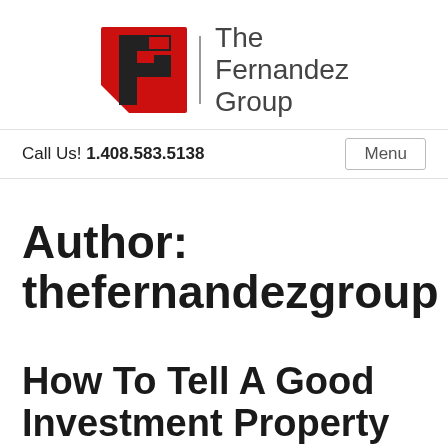[Figure (logo): The Fernandez Group logo: red square with white F-like letter inside, next to text 'The Fernandez Group']
Call Us! 1.408.583.5138   Menu
Author: thefernandezgroup
How To Tell A Good Investment Property From A Bad One In San Jose,